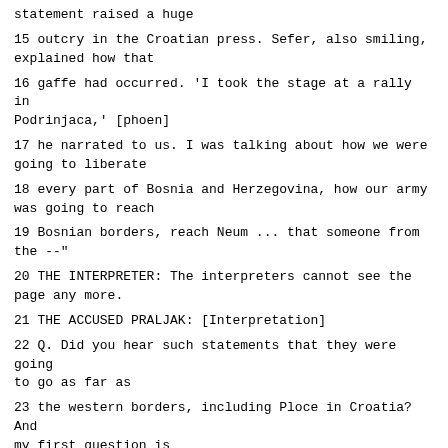statement raised a huge
15 outcry in the Croatian press. Sefer, also smiling, explained how that
16 gaffe had occurred. 'I took the stage at a rally in Podrinjaca,' [phoen]
17 he narrated to us. I was talking about how we were going to liberate
18 every part of Bosnia and Herzegovina, how our army was going to reach
19 Bosnian borders, reach Neum ... that someone from the --"
20 THE INTERPRETER: The interpreters cannot see the page any more.
21 THE ACCUSED PRALJAK: [Interpretation]
22 Q. Did you hear such statements that they were going to go as far as
23 the western borders, including Ploce in Croatia? And my first question is
24 in fact: Is it clear to you from these documents and the previous ones
25 that the army of Bosnia and Herzegovina did not